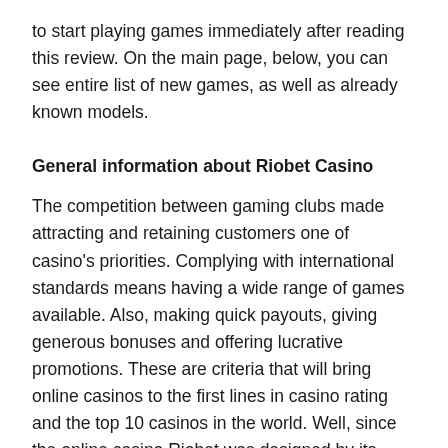to start playing games immediately after reading this review. On the main page, below, you can see entire list of new games, as well as already known models.
General information about Riobet Casino
The competition between gaming clubs made attracting and retaining customers one of casino's priorities. Complying with international standards means having a wide range of games available. Also, making quick payouts, giving generous bonuses and offering lucrative promotions. These are criteria that will bring online casinos to the first lines in casino rating and the top 10 casinos in the world. Well, since the online casino Riobet was designed by its founders as a competitive gambling establishment in relation to European clubs, all these qualities are inherent in this playground.